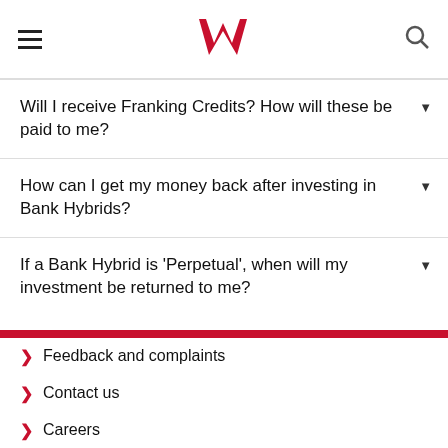Westpac header with hamburger menu and search
Will I receive Franking Credits? How will these be paid to me?
How can I get my money back after investing in Bank Hybrids?
If a Bank Hybrid is 'Perpetual', when will my investment be returned to me?
Feedback and complaints
Contact us
Careers
Access and Inclusion